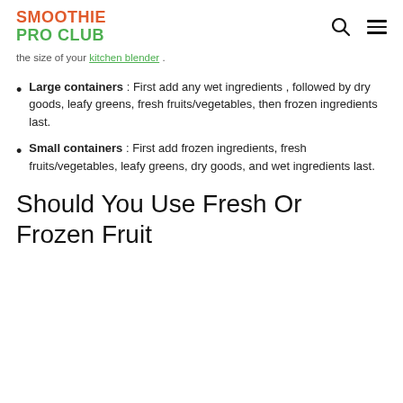SMOOTHIE PRO CLUB
the size of your kitchen blender .
Large containers : First add any wet ingredients , followed by dry goods, leafy greens, fresh fruits/vegetables, then frozen ingredients last.
Small containers : First add frozen ingredients, fresh fruits/vegetables, leafy greens, dry goods, and wet ingredients last.
Should You Use Fresh Or Frozen Fruit